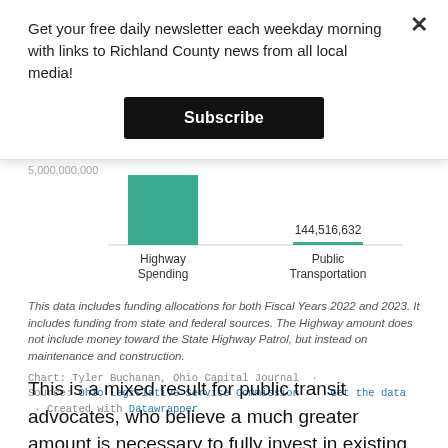Get your free daily newsletter each weekday morning with links to Richland County news from all local media!
[Figure (bar-chart): Highway Spending vs Public Transportation]
This data includes funding allocations for both Fiscal Years 2022 and 2023. It includes funding from state and federal sources. The Highway amount does not include money toward the State Highway Patrol, but instead on maintenance and construction.
Chart: Tyler Buchanan, Ohio Capital Journal · Source: Ohio Legislative Service Commission · Get the data · Created with Datawrapper
This is a mixed result for public transit advocates, who believe a much greater amount is necessary to fully invest in existing and new opportunities for